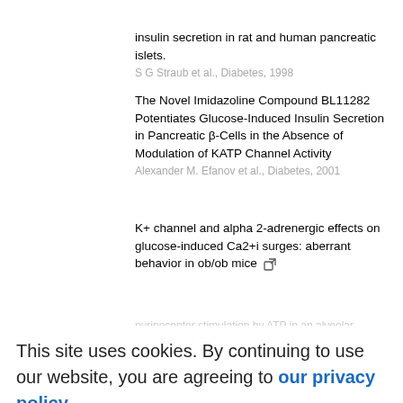insulin secretion in rat and human pancreatic islets.
S G Straub et al., Diabetes, 1998
The Novel Imidazoline Compound BL11282 Potentiates Glucose-Induced Insulin Secretion in Pancreatic β-Cells in the Absence of Modulation of KATP Channel Activity
Alexander M. Efanov et al., Diabetes, 2001
K+ channel and alpha 2-adrenergic effects on glucose-induced Ca2+i surges: aberrant behavior in ob/ob mice
This site uses cookies. By continuing to use our website, you are agreeing to our privacy policy. Accept
purinoceptor stimulation by ATP in an alveolar epithelial cell (L2)